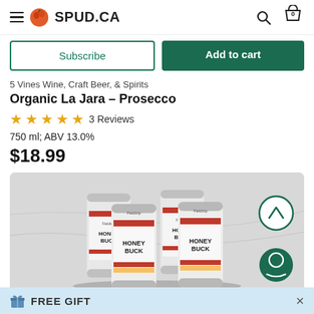SPUD.CA
Subscribe | Add to cart
5 Vines Wine, Craft Beer, & Spirits
Organic La Jara - Prosecco
★★★★★ 3 Reviews
750 ml; ABV 13.0%
$18.99
[Figure (photo): Four cans of Honey Buck craft beer arranged in a 2x2 pack on a marble surface. Cans are white with red and black branding showing 'Honey Buck' text.]
FREE GIFT